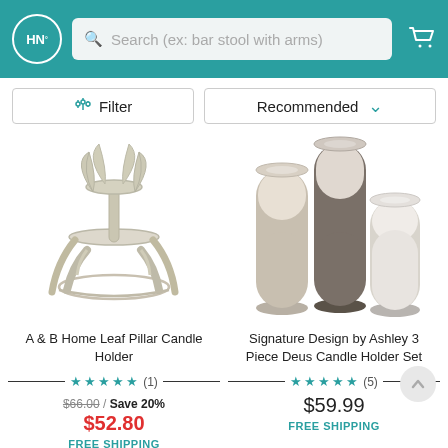HN° | Search (ex: bar stool with arms)
Filter | Recommended
[Figure (photo): Silver metallic candle holder with decorative leaf-shaped legs and circular base/ring]
A & B Home Leaf Pillar Candle Holder
★★★★★ (1) | $66.00 / Save 20% | $52.80 | FREE SHIPPING
[Figure (photo): Three cylindrical glass candle holders of varying heights with cream and grey wax candles]
Signature Design by Ashley 3 Piece Deus Candle Holder Set
★★★★★ (5) | $59.99 | FREE SHIPPING